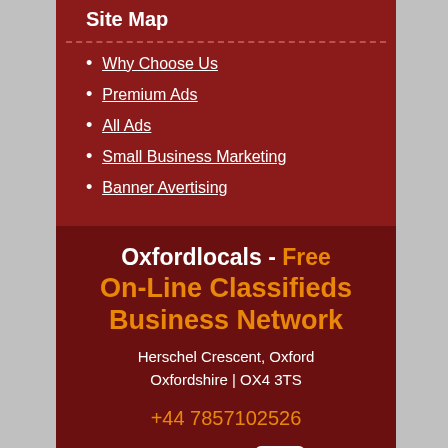Site Map
Why Choose Us
Premium Ads
All Ads
Small Business Marketing
Banner Avertising
Oxfordlocals - Free On-Line Classifieds Business Network
Herschel Crescent, Oxford
Oxfordshire | OX4 3TS
+44 7857102526
[Figure (illustration): Social media icons: Facebook, Twitter, YouTube]
OxfordLocals. ® All rights reserved